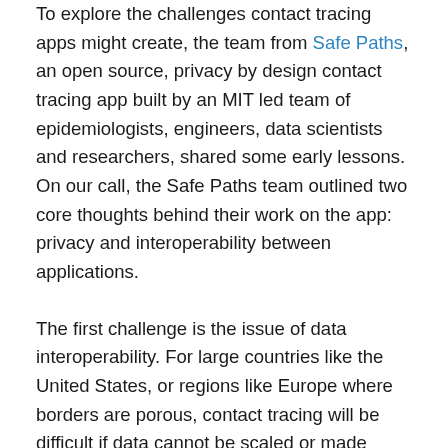To explore the challenges contact tracing apps might create, the team from Safe Paths, an open source, privacy by design contact tracing app built by an MIT led team of epidemiologists, engineers, data scientists and researchers, shared some early lessons. On our call, the Safe Paths team outlined two core thoughts behind their work on the app: privacy and interoperability between applications.
The first challenge is the issue of data interoperability. For large countries like the United States, or regions like Europe where borders are porous, contact tracing will be difficult if data cannot be scaled or made interoperable. Presently, many governments are exploring developing their own contact tracing apps. If each has a unique approach to collecting and structuring data it will be difficult to do contact tracing effectively, particularly as